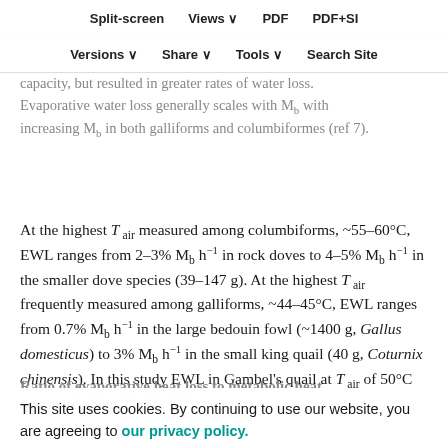Split-screen  Views  PDF  PDF+SI  Versions  Share  Tools  Search Site
capacity, but resulted in greater rates of water loss. Evaporative water loss generally scales with Mb with increasing Mb in both galliforms and columbiformes (ref 7).
At the highest T air measured among columbiforms, ~55–60°C, EWL ranges from 2–3% M b h−1 in rock doves to 4–5% M b h−1 in the smaller dove species (39–147 g). At the highest T air frequently measured among galliforms, ~44–45°C, EWL ranges from 0.7% M b h−1 in the large bedouin fowl (~1400 g, Gallus domesticus) to 3% M b h−1 in the small king quail (40 g, Coturnix chinensis). In this study EWL in Gambel's quail at T air of 50°C measured about 2% M b h−1.
Ratio of evaporative heat loss to metabolic heat production
This site uses cookies. By continuing to use our website, you are agreeing to our privacy policy.
Accept
At T air just below their respective HTL we found that Gambel's quail are able to produce EHL/MHP of 2.14 at